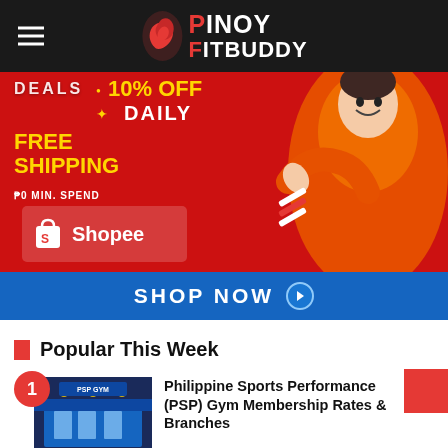Pinoy FitBuddy
[Figure (photo): Shopee advertisement banner with red background showing 10% OFF DAILY, FREE SHIPPING P0 MIN. SPEND, Shopee logo, man in orange jacket giving thumbs up, blue bar at bottom with SHOP NOW button]
Popular This Week
[Figure (photo): Article thumbnail showing a gym exterior with blue lighting]
Philippine Sports Performance (PSP) Gym Membership Rates & Branches